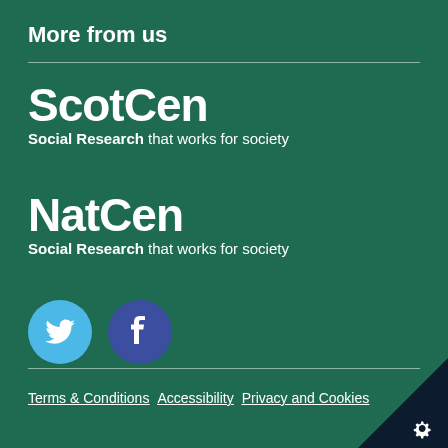More from us
[Figure (logo): ScotCen Social Research logo — text 'ScotCen' in large bold white with tagline 'Social Research that works for society']
[Figure (logo): NatCen Social Research logo — text 'NatCen' in large bold white with tagline 'Social Research that works for society']
[Figure (illustration): Two social media icons: a Twitter bird icon on a light blue circle, and a Facebook 'f' icon on a dark blue/purple circle]
Terms & Conditions   Accessibility   Privacy and Cookies